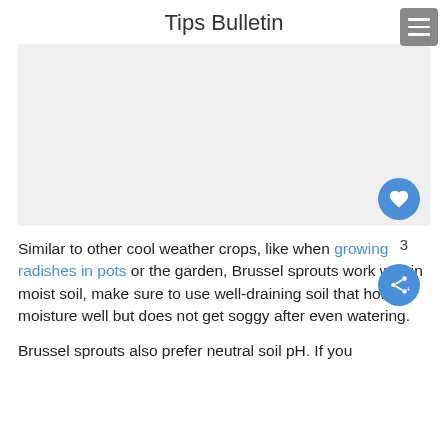Tips Bulletin
[Figure (photo): Light gray image placeholder area, partially visible at top of content area]
Similar to other cool weather crops, like when growing radishes in pots or the garden, Brussel sprouts work well in moist soil, make sure to use well-draining soil that holds moisture well but does not get soggy after even watering.
Brussel sprouts also prefer neutral soil pH. If you